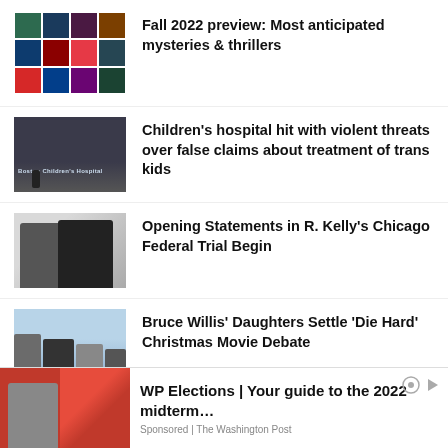[Figure (photo): Grid of book covers for mystery and thriller novels]
Fall 2022 preview: Most anticipated mysteries & thrillers
[Figure (photo): Exterior of Boston Children's Hospital with person walking by sign]
Children’s hospital hit with violent threats over false claims about treatment of trans kids
[Figure (photo): R. Kelly and another man in suits outside courthouse]
Opening Statements in R. Kelly’s Chicago Federal Trial Begin
[Figure (photo): Bruce Willis and daughters in outdoor setting]
Bruce Willis’ Daughters Settle ‘Die Hard’ Christmas Movie Debate
[Figure (photo): WP Elections advertisement with Biden image and US electoral map]
WP Elections | Your guide to the 2022 midterm…
Sponsored | The Washington Post